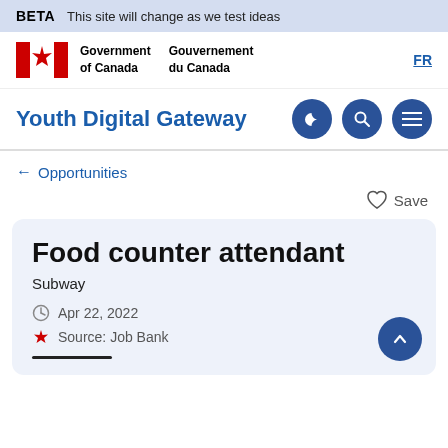BETA  This site will change as we test ideas
[Figure (logo): Government of Canada / Gouvernement du Canada logo with Canadian flag icon, FR language toggle link]
Youth Digital Gateway
← Opportunities
Save
Food counter attendant
Subway
Apr 22, 2022
Source: Job Bank